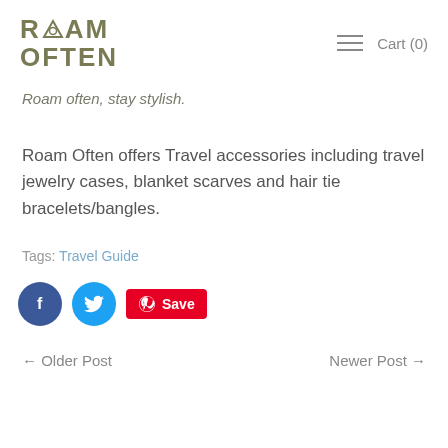ROAM OFTEN | Cart (0)
Roam often, stay stylish.
Roam Often offers Travel accessories including travel jewelry cases, blanket scarves and hair tie bracelets/bangles.
Tags: Travel Guide
[Figure (other): Social share buttons: Facebook (dark blue circle with f), Twitter (blue circle with bird), Pinterest Save button (red rectangle with Pinterest icon and Save text)]
← Older Post | Newer Post →